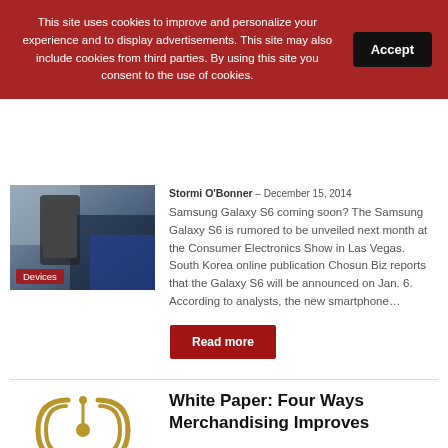This site uses cookies to improve and personalize your experience and to display advertisements. This site may also include cookies from third parties. By using this site you consent to the use of cookies.
Accept
[Figure (photo): Thumbnail image showing a person holding a Samsung phone, with a 'Devices' badge overlay.]
Stormi O'Bonner  –  December 15, 2014
Samsung Galaxy S6 coming soon? The Samsung Galaxy S6 is rumored to be unveiled next month at the Consumer Electronics Show in Las Vegas. South Korea online publication Chosun Biz reports that the Galaxy S6 will be announced on Jan. 6. According to analysts, the new smartphone…
Read more
[Figure (illustration): Gold radio signal / broadcast icon with antenna symbol.]
White Paper: Four Ways Merchandising Improves